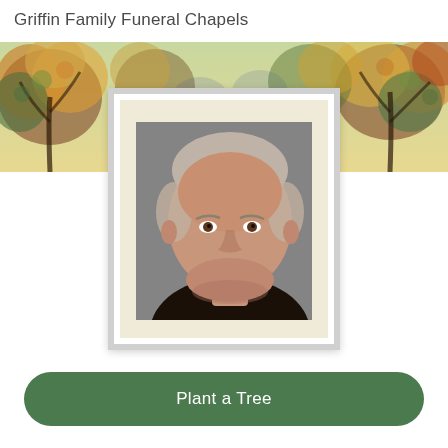Griffin Family Funeral Chapels
[Figure (illustration): Decorative banner image showing abstract stained-glass style tree branches with warm orange, yellow, green, and blue tones.]
[Figure (photo): Framed portrait photograph of an elderly man with a warm smile, short grey hair, wearing a dark top. Photo is set in a cream mat within a white frame.]
Plant a Tree